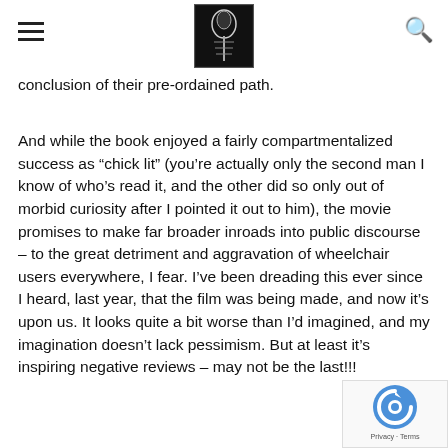[hamburger menu icon] [X-ray image] [search icon]
conclusion of their pre-ordained path.
And while the book enjoyed a fairly compartmentalized success as “chick lit” (you’re actually only the second man I know of who’s read it, and the other did so only out of morbid curiosity after I pointed it out to him), the movie promises to make far broader inroads into public discourse – to the great detriment and aggravation of wheelchair users everywhere, I fear. I’ve been dreading this ever since I heard, last year, that the film was being made, and now it’s upon us. It looks quite a bit worse than I’d imagined, and my imagination doesn’t lack pessimism. But at least it’s inspiring negative reviews – may not be the last!!!